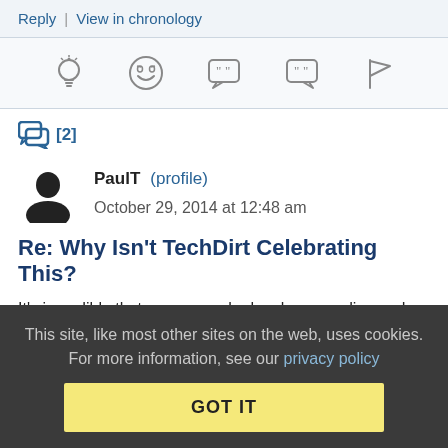Reply | View in chronology
[Figure (infographic): Row of 5 action icons: lightbulb, laughing emoji, left-quote speech bubble, right-quote speech bubble, flag]
[2]
PaulT (profile)   October 29, 2014 at 12:48 am
Re: Why Isn't TechDirt Celebrating This?
It's incredible that someone who has been reading and commenting here for so many years can lack even the most basic understanding of the actual opinions often posted here.
This site, like most other sites on the web, uses cookies. For more information, see our privacy policy
GOT IT